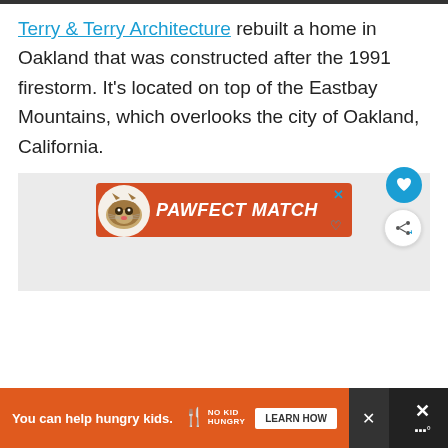Terry & Terry Architecture rebuilt a home in Oakland that was constructed after the 1991 firestorm. It's located on top of the Eastbay Mountains, which overlooks the city of Oakland, California.
[Figure (infographic): Advertisement banner for 'Pawfect Match' showing a cat image on an orange background with the text 'PAWFECT MATCH' in white bold italic font]
[Figure (infographic): Bottom advertisement bar: 'You can help hungry kids.' with No Kid Hungry logo and a 'LEARN HOW' button on an orange background, with close buttons and additional icons on dark background]